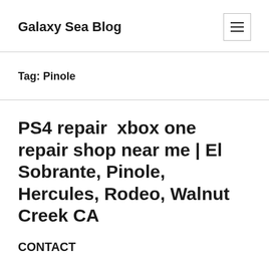Galaxy Sea Blog
Tag: Pinole
PS4 repair  xbox one repair shop near me | El Sobrante, Pinole, Hercules, Rodeo, Walnut Creek CA
CONTACT